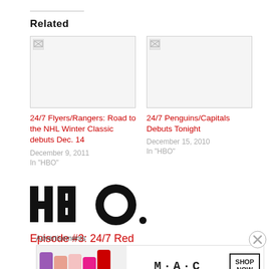Related
[Figure (photo): Broken image placeholder for 24/7 Flyers/Rangers article thumbnail]
24/7 Flyers/Rangers: Road to the NHL Winter Classic debuts Dec. 14
December 9, 2011
In "HBO"
[Figure (photo): Broken image placeholder for 24/7 Penguins/Capitals article thumbnail]
24/7 Penguins/Capitals Debuts Tonight
December 15, 2010
In "HBO"
[Figure (logo): HBO logo in black, large bold lettering]
Episode #3: 24/7 Red
Advertisements
[Figure (photo): M·A·C cosmetics advertisement banner with lipsticks and SHOP NOW button]